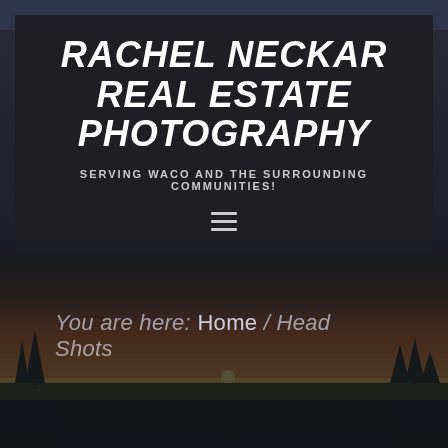RACHEL NECKAR REAL ESTATE PHOTOGRAPHY
SERVING WACO AND THE SURROUNDING COMMUNITIES!
[Figure (screenshot): Hamburger menu icon (three horizontal lines)]
[Figure (photo): Scenic sunset background photo with green fields, trees silhouetted against orange/pink sunset sky]
You are here: Home / Head Shots